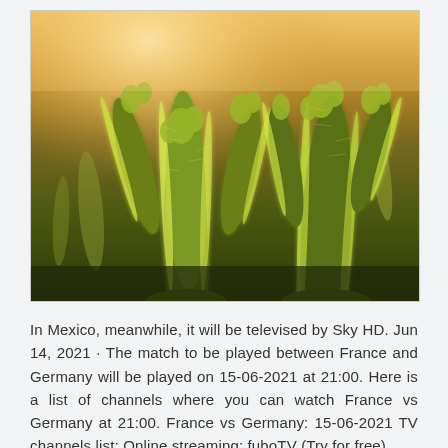[Figure (photo): Close-up photograph of tall cactus plants (cholla cacti) with spiny arms, backlit by warm golden sunlight creating a glowing halo effect. The background is softly blurred with warm orange and yellow tones.]
In Mexico, meanwhile, it will be televised by Sky HD. Jun 14, 2021 · The match to be played between France and Germany will be played on 15-06-2021 at 21:00. Here is a list of channels where you can watch France vs Germany at 21:00. France vs Germany: 15-06-2021 TV channels list: Online streaming: fuboTV (Try for free)